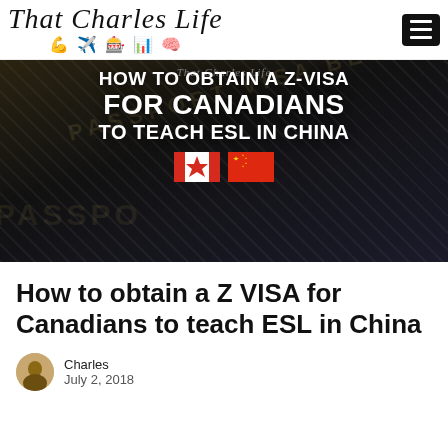That Charles Life
[Figure (photo): Dark background hero image with passport/visa watermark texture and centered bold white text reading: HOW TO OBTAIN A Z-VISA FOR CANADIANS TO TEACH ESL IN CHINA, with Canadian and Chinese flags below the text]
How to obtain a Z VISA for Canadians to teach ESL in China
Charles
July 2, 2018